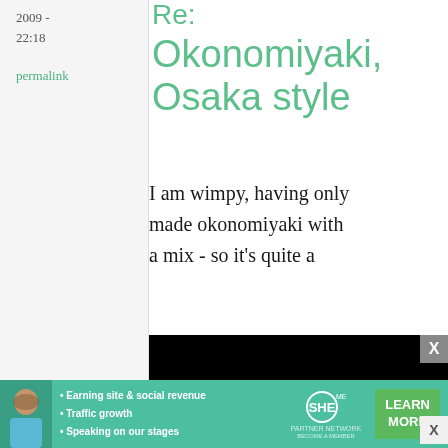2009 - 22:18
permalink
Re: Okonomiyaki, Osaka style
I am wimpy, having only made okonomiyaki with a mix - so it's quite a
[Figure (screenshot): Embedded video player showing black screen with play button, progress bar, and controls showing 13:52 timestamp and CC, grid, settings, fullscreen icons]
[Figure (infographic): SHE Media Partner Network advertisement banner with woman photo, bullet points: Earning site & social revenue, Traffic growth, Speaking on our stages, SHE logo, and LEARN MORE button]